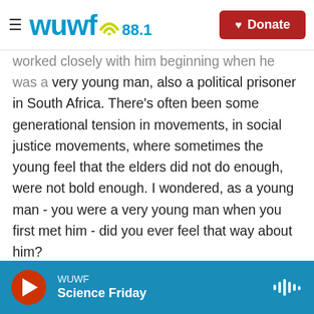WUWF 88.1 | Donate
worked closely with him beginning when he was a very young man, also a political prisoner in South Africa. There's often been some generational tension in movements, in social justice movements, where sometimes the young feel that the elders did not do enough, were not bold enough. I wondered, as a young man - you were a very young man when you first met him - did you ever feel that way about him?
RASOOL: No. I think that we had absolute admiration for him because by that time when I met him, he had been in prison already for over two decades. And so this was the stuff of legend that
WUWF | Science Friday